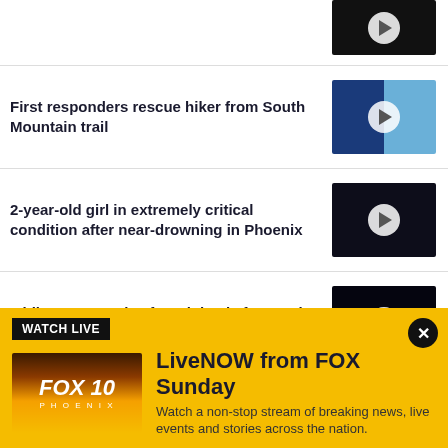[Figure (screenshot): Partial news item thumbnail at top - dark indoor scene with play button]
First responders rescue hiker from South Mountain trail
[Figure (photo): Split thumbnail showing rescue scene and aerial view with play button]
2-year-old girl in extremely critical condition after near-drowning in Phoenix
[Figure (photo): Night scene with vehicles and lights, play button overlay]
3 hikers rescued, 1 found dead after getting dehydrated on Arizona trail
[Figure (photo): Night scene on trail with rescuers, play button overlay]
WATCH LIVE
[Figure (logo): FOX 10 Phoenix logo on sunset background]
LiveNOW from FOX Sunday
Watch a non-stop stream of breaking news, live events and stories across the nation.